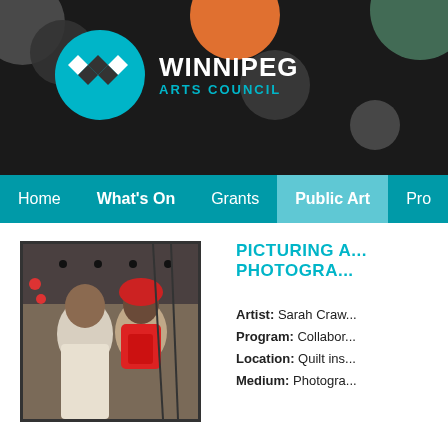[Figure (logo): Winnipeg Arts Council logo with teal circle containing diamond pattern and text WINNIPEG ARTS COUNCIL on dark background with decorative colored circles]
Home  What's On  Grants  Public Art  Pro...
[Figure (photo): Two women standing together indoors, one wearing white and one wearing red hat and scarf]
PICTURING A... PHOTOGRA...
Artist: Sarah Craw...
Program: Collabor...
Location: Quilt ins...
Medium: Photogra...